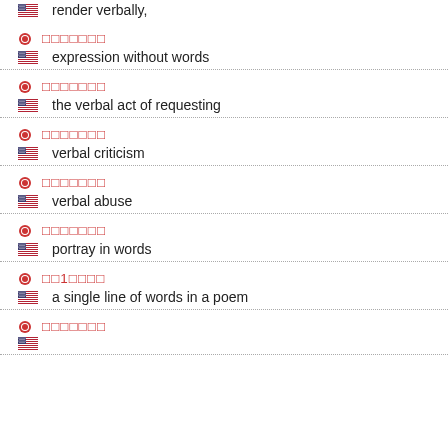render verbally,
□□□□□□□ / expression without words
□□□□□□□ / the verbal act of requesting
□□□□□□□ / verbal criticism
□□□□□□□ / verbal abuse
□□□□□□□ / portray in words
□□1□□□□ / a single line of words in a poem
□□□□□□□ / ...